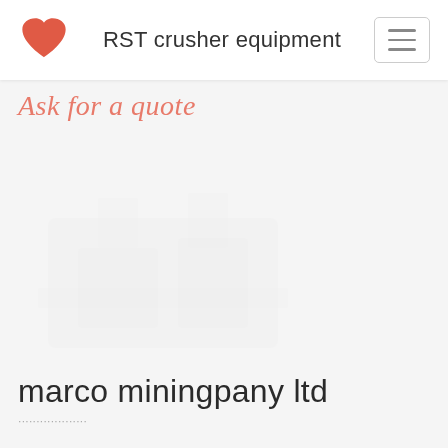RST crusher equipment
Ask for a quote
[Figure (illustration): Faint watermark-style image of a stone crusher machine in background]
marco miningpany ltd